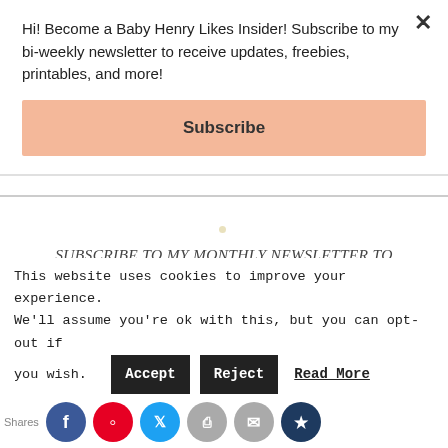Hi! Become a Baby Henry Likes Insider! Subscribe to my bi-weekly newsletter to receive updates, freebies, printables, and more!
Subscribe
SUBSCRIBE TO MY MONTHLY NEWSLETTER TO RECEIVE UPDATES, FREEBIES, PRINTABLES, AND MORE!
This website uses cookies to improve your experience. We'll assume you're ok with this, but you can opt-out if you wish.
Accept  Reject  Read More
Shares